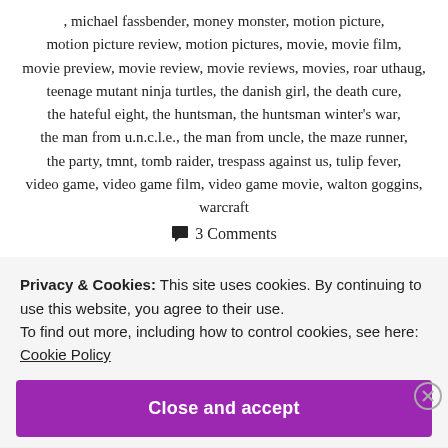, michael fassbender, money monster, motion picture, motion picture review, motion pictures, movie, movie film, movie preview, movie review, movie reviews, movies, roar uthaug, teenage mutant ninja turtles, the danish girl, the death cure, the hateful eight, the huntsman, the huntsman winter's war, the man from u.n.c.l.e., the man from uncle, the maze runner, the party, tmnt, tomb raider, trespass against us, tulip fever, video game, video game film, video game movie, walton goggins, warcraft
3 Comments
Privacy & Cookies: This site uses cookies. By continuing to use this website, you agree to their use.
To find out more, including how to control cookies, see here:
Cookie Policy
Close and accept